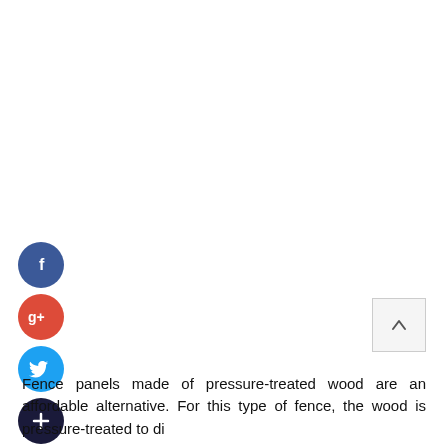[Figure (infographic): Four social media sharing icons stacked vertically: Facebook (dark blue circle with 'f'), Google+ (red circle with 'g+'), Twitter (light blue circle with bird icon), and Add/Plus (dark navy circle with '+' sign)]
[Figure (other): Scroll-to-top button: a small square with a border containing an upward-pointing arrow]
Fence panels made of pressure-treated wood are an affordable alternative. For this type of fence, the wood is pressure-treated to di...